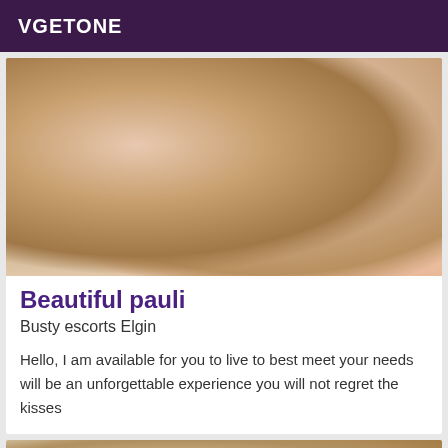VGETONE
[Figure (photo): Close-up photo of a person in pink clothing]
Beautiful pauli
Busty escorts Elgin
Hello, I am available for you to live to best meet your needs will be an unforgettable experience you will not regret the kisses
[Figure (photo): Photo with Online badge overlay, showing a person with blonde hair near wooden furniture]